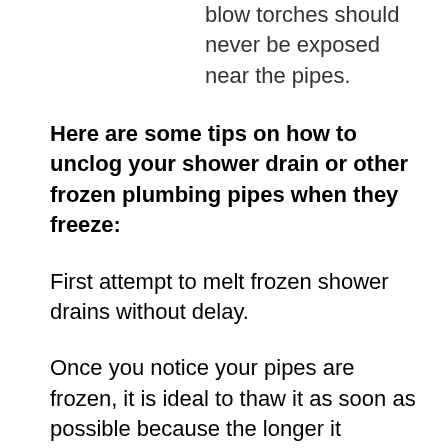blow torches should never be exposed near the pipes.
Here are some tips on how to unclog your shower drain or other frozen plumbing pipes when they freeze:
First attempt to melt frozen shower drains without delay.
Once you notice your pipes are frozen, it is ideal to thaw it as soon as possible because the longer it remains unattended to, the more ice forms in the pipe and the more difficult it becomes to melt. If the pipes are left frozen, the ice expands as water continues to flow into the